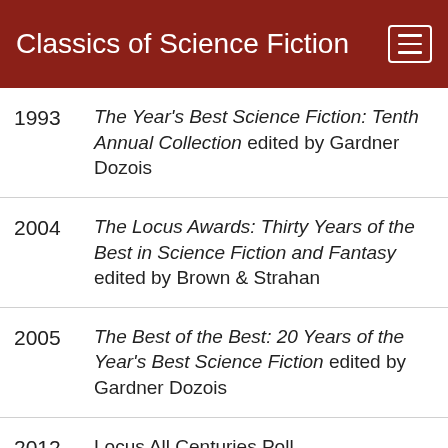Classics of Science Fiction
1993 — The Year's Best Science Fiction: Tenth Annual Collection edited by Gardner Dozois
2004 — The Locus Awards: Thirty Years of the Best in Science Fiction and Fantasy edited by Brown & Strahan
2005 — The Best of the Best: 20 Years of the Year's Best Science Fiction edited by Gardner Dozois
2012 — Locus All Centuries Poll
2018 — Sci-Fi Lists Top 200 - story